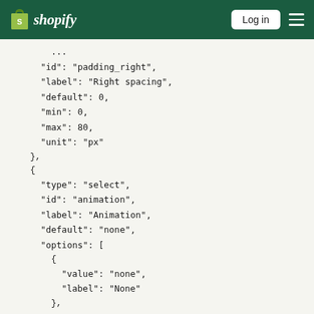Shopify — Log in
"id": "padding_right",
    "label": "Right spacing",
    "default": 0,
    "min": 0,
    "max": 80,
    "unit": "px"
  },
  {
    "type": "select",
    "id": "animation",
    "label": "Animation",
    "default": "none",
    "options": [
      {
        "value": "none",
        "label": "None"
      },